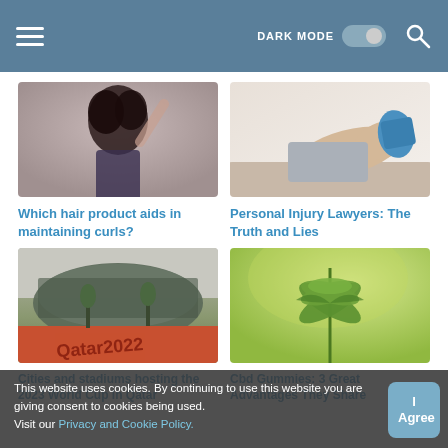DARK MODE [toggle] [search]
[Figure (photo): Woman with curly dark hair posing with arm raised]
[Figure (photo): Person's leg with a blue cast/boot resting on a surface]
Which hair product aids in maintaining curls?
Personal Injury Lawyers: The Truth and Lies
[Figure (photo): Qatar 2022 stadium exterior with Qatar2022 signage]
[Figure (photo): Cannabis/hemp plant with green leaves close-up]
Cities and stadiums hosting the 2023 World Cup In Qatar
Cbd Gummies: 3 Great Advantages They Share
This website uses cookies. By continuing to use this website you are giving consent to cookies being used. Visit our Privacy and Cookie Policy.